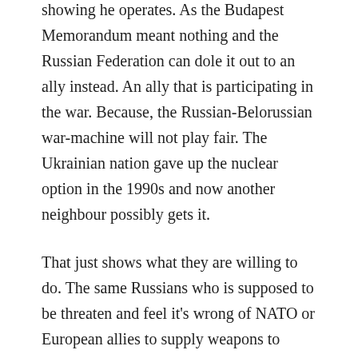showing he operates. As the Budapest Memorandum meant nothing and the Russian Federation can dole it out to an ally instead. An ally that is participating in the war. Because, the Russian-Belorussian war-machine will not play fair. The Ukrainian nation gave up the nuclear option in the 1990s and now another neighbour possibly gets it.
That just shows what they are willing to do. The same Russians who is supposed to be threaten and feel it's wrong of NATO or European allies to supply weapons to Ukraine. That they are saying is escalating and could lead to an escalation of war. However, the threat of the nuclear option and allowing allies to use it. Just shows what sort of regime that is operating in Moscow.
Kyiv have warned Europe and it's allies. However, Berlin,